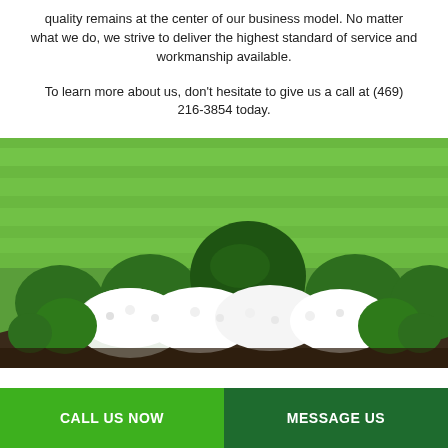quality remains at the center of our business model. No matter what we do, we strive to deliver the highest standard of service and workmanship available.
To learn more about us, don't hesitate to give us a call at (469) 216-3854 today.
[Figure (photo): Landscaped garden with neatly trimmed round green shrubs and white flowering plants on a lush green lawn]
CALL US NOW
MESSAGE US